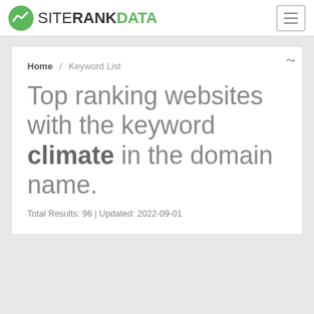SITERANKDATA
Home / Keyword List
Top ranking websites with the keyword climate in the domain name.
Total Results: 96 | Updated: 2022-09-01